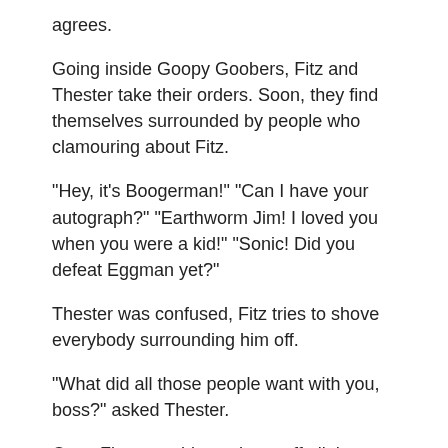agrees.
Going inside Goopy Goobers, Fitz and Thester take their orders. Soon, they find themselves surrounded by people who clamouring about Fitz.
"Hey, it's Boogerman!" "Can I have your autograph?" "Earthworm Jim! I loved you when you were a kid!" "Sonic! Did you defeat Eggman yet?"
Thester was confused, Fitz tries to shove everybody surrounding him off.
"What did all those people want with you, boss?" asked Thester.
Once Fitz was able to shove off all the people that circled him, Fitz says, "I have no idea!"